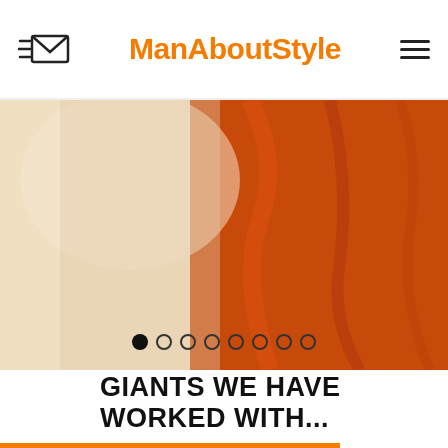ManAboutStyle
[Figure (photo): Close-up photo of orange and beige fabric/clothing with slider navigation dots at the bottom]
GIANTS WE HAVE WORKED WITH...
[Figure (logo): Partial logos visible at bottom: ITA airlines logo and NETFLIX logo text]
[Figure (illustration): Orange horizontal bar underline beneath section header]